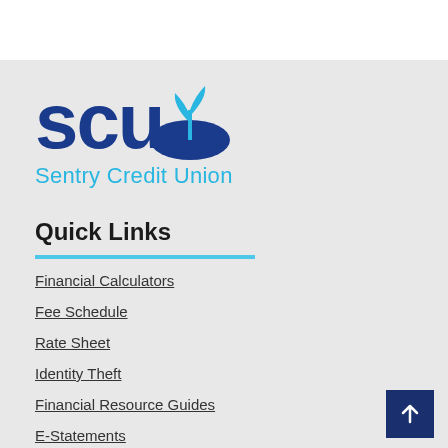[Figure (logo): SCU Sentry Credit Union logo with dark blue 'scu' text and a light blue plant/sprout icon above a hill shape, with 'Sentry Credit Union' in light blue below]
Quick Links
Financial Calculators
Fee Schedule
Rate Sheet
Identity Theft
Financial Resource Guides
E-Statements
ATM Locator
Shared Branching